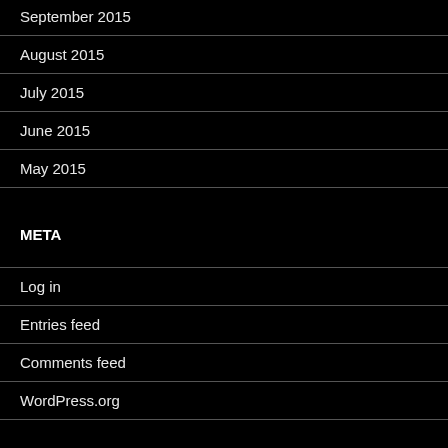September 2015
August 2015
July 2015
June 2015
May 2015
META
Log in
Entries feed
Comments feed
WordPress.org